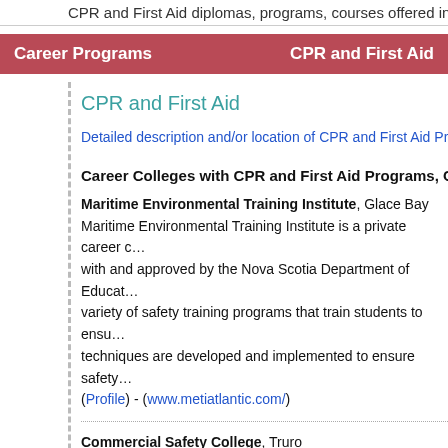CPR and First Aid diplomas, programs, courses offered in Nova S…
Career Programs    CPR and First Aid
CPR and First Aid
Detailed description and/or location of CPR and First Aid Progra…
Career Colleges with CPR and First Aid Programs, Courses
Maritime Environmental Training Institute, Glace Bay
Maritime Environmental Training Institute is a private career college with and approved by the Nova Scotia Department of Education. A variety of safety training programs that train students to ensure techniques are developed and implemented to ensure safety.
(Profile) - (www.metiatlantic.com/)
Commercial Safety College, Truro
Commercial Safety College was established in 1959 in Mass… Scotia in Canada. It is a private career college with training fa…